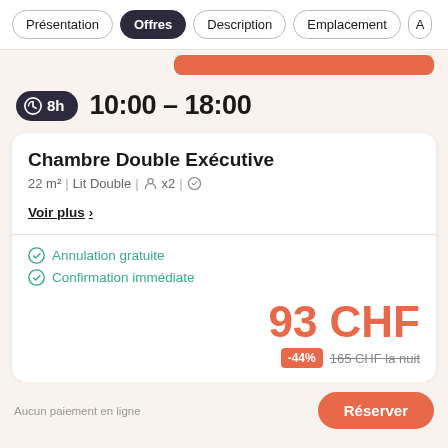Présentation | Offres | Description | Emplacement | A
8h  10:00 - 18:00
Chambre Double Exécutive
22 m² | Lit Double | x2 |
Voir plus ›
Annulation gratuite
Confirmation immédiate
93 CHF
-44%  165 CHF la nuit
Aucun paiement en ligne
Réserver